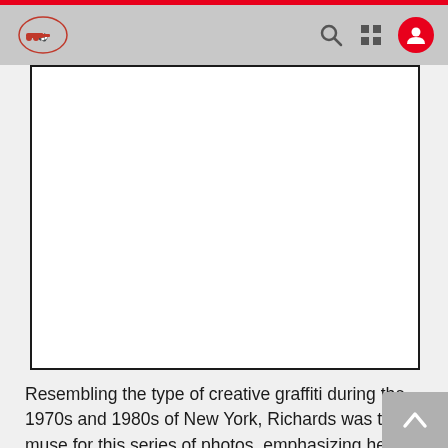Navigation header with logo, search, grid, and user icons
[Figure (photo): Large white rectangular image placeholder with black border, representing a photo in an article about creative graffiti photography featuring Richards.]
Resembling the type of creative graffiti during the 1970s and 1980s of New York, Richards was the muse for this series of photos, emphasizing her creative input. Adding to the urban theme was the addition of Richards on a skateboard